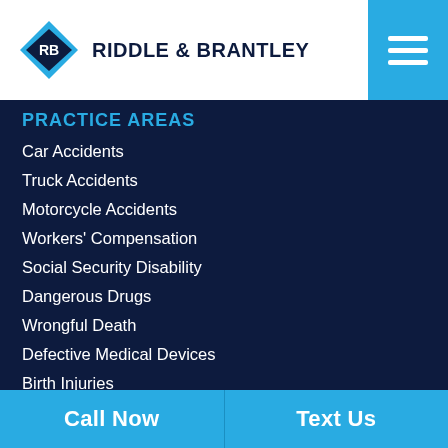RIDDLE & BRANTLEY
PRACTICE AREAS
Car Accidents
Truck Accidents
Motorcycle Accidents
Workers' Compensation
Social Security Disability
Dangerous Drugs
Wrongful Death
Defective Medical Devices
Birth Injuries
Appeals
Product Liability
Call Now | Text Us